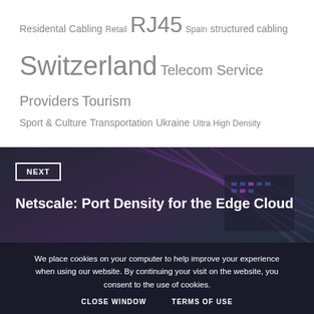Residental Cabling Retail RJ45 Spain structured cabling Switzerland Telecom Service Providers Tourism Sport & Culture Transportation Ukraine Ultra High Density
[Figure (photo): Dark background photo of network cables and patch panel in a server rack with purple/violet cables]
NEXT
Netscale: Port Density for the Edge Cloud
June 2016
We place cookies on your computer to help improve your experience when using our website. By continuing your visit on the website, you consent to the use of cookies.
CLOSE WINDOW   TERMS OF USE